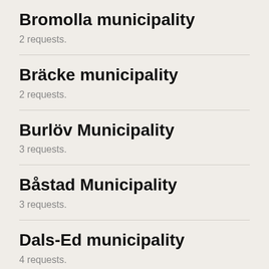Bromolla municipality
2 requests.
Bräcke municipality
2 requests.
Burlöv Municipality
3 requests.
Båstad Municipality
3 requests.
Dals-Ed municipality
4 requests.